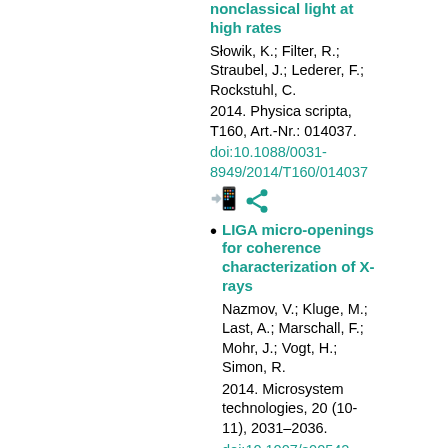nonclassical light at high rates
Słowik, K.; Filter, R.; Straubel, J.; Lederer, F.; Rockstuhl, C.
2014. Physica scripta, T160, Art.-Nr.: 014037.
doi:10.1088/0031-8949/2014/T160/014037
LIGA micro-openings for coherence characterization of X-rays
Nazmov, V.; Kluge, M.; Last, A.; Marschall, F.; Mohr, J.; Vogt, H.; Simon, R.
2014. Microsystem technologies, 20 (10-11), 2031–2036.
doi:10.1007/s00542-